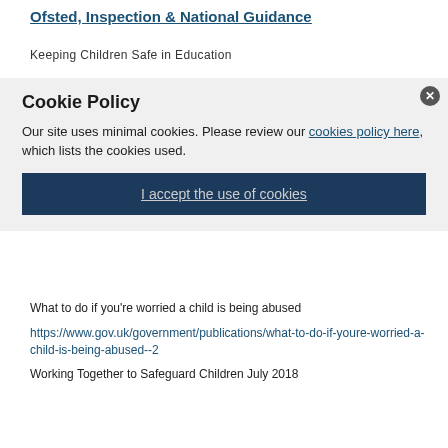Ofsted, Inspection & National Guidance
Keeping Children Safe in Education
Cookie Policy
Our site uses minimal cookies. Please review our cookies policy here, which lists the cookies used.
I accept the use of cookies
What to do if you're worried a child is being abused
https://www.gov.uk/government/publications/what-to-do-if-youre-worried-a-child-is-being-abused--2
Working Together to Safeguard Children July 2018